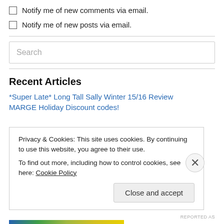Notify me of new comments via email.
Notify me of new posts via email.
Recent Articles
*Super Late* Long Tall Sally Winter 15/16 Review
MARGE Holiday Discount codes!
Privacy & Cookies: This site uses cookies. By continuing to use this website, you agree to their use.
To find out more, including how to control cookies, see here: Cookie Policy
Close and accept